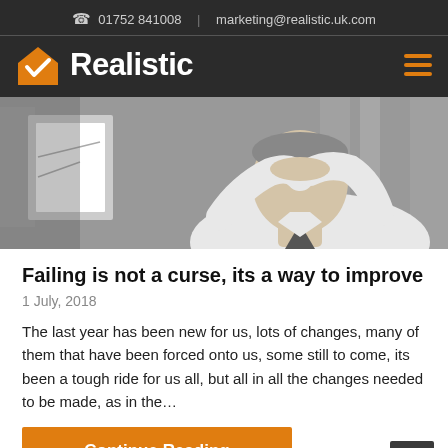📞 01752 841008  |  marketing@realistic.uk.com
[Figure (logo): Realistic logo: orange house with checkmark icon and white bold text 'Realistic' on dark background, with orange hamburger menu icon on right]
[Figure (photo): Black and white photo of a person in a white shirt with hands behind their head, looking stressed, with a framed picture/board visible on the left]
Failing is not a curse, its a way to improve
1 July, 2018
The last year has been new for us, lots of changes, many of them that have been forced onto us, some still to come, its been a tough ride for us all, but all in all the changes needed to be made, as in the…
Continue Reading